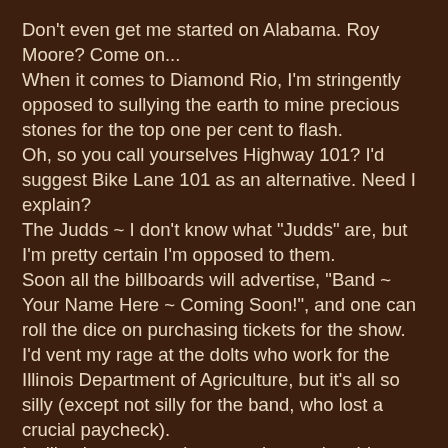Don't even get me started on Alabama. Roy Moore? Come on...
When it comes to Diamond Rio, I'm stringently opposed to sullying the earth to mine precious stones for the top one per cent to flash.
Oh, so you call yourselves Highway 101? I'd suggest Bike Lane 101 as an alternative. Need I explain?
The Judds ~ I don't know what "Judds" are, but I'm pretty certain I'm opposed to them.
Soon all the billboards will advertise, "Band ~ Your Name Here ~ Coming Soon!", and one can roll the dice on purchasing tickets for the show.
I'd vent my rage at the dolts who work for the Illinois Department of Agriculture, but it's all so silly (except not silly for the band, who lost a crucial paycheck).
I will calm everyone's nerves by posting this: